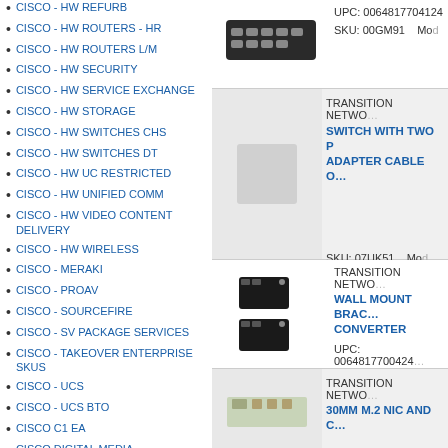CISCO - HW REFURB
CISCO - HW ROUTERS - HR
CISCO - HW ROUTERS L/M
CISCO - HW SECURITY
CISCO - HW SERVICE EXCHANGE
CISCO - HW STORAGE
CISCO - HW SWITCHES CHS
CISCO - HW SWITCHES DT
CISCO - HW UC RESTRICTED
CISCO - HW UNIFIED COMM
CISCO - HW VIDEO CONTENT DELIVERY
CISCO - HW WIRELESS
CISCO - MERAKI
CISCO - PROAV
CISCO - SOURCEFIRE
CISCO - SV PACKAGE SERVICES
CISCO - TAKEOVER ENTERPRISE SKUS
CISCO - UCS
CISCO - UCS BTO
CISCO C1 EA
CISCO DIGITAL MEDIA
CISCO HW VIDEO
CISCO HW-ENERGYWISE
CISCO INTERSIGHT
[Figure (photo): Network switch device photo at top right]
UPC: 0064817704124
SKU: 00GM91   Mod
[Figure (photo): TRANSITION NETWORKS switch product, shaded background]
TRANSITION NETWORKS
SWITCH WITH TWO P... ADAPTER CABLE O...
SKU: 07UK51   Mod
[Figure (photo): Wall mount bracket media converter device photo]
TRANSITION NETWORKS
WALL MOUNT BRACKET CONVERTER
UPC: 0064817700424
SKU: 120492   Mode
[Figure (photo): TRANSITION NETWORKS 30MM M.2 NIC product, shaded background]
TRANSITION NETWORKS
30MM M.2 NIC AND C...